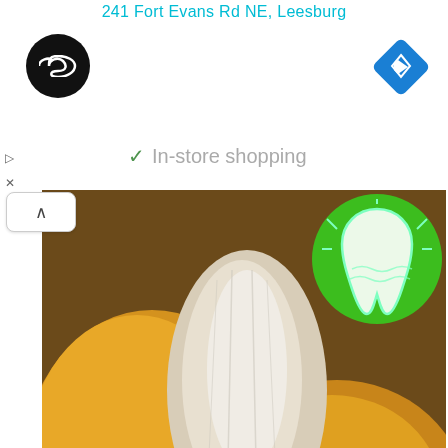241 Fort Evans Rd NE, Leesburg
[Figure (logo): Black circular logo with infinity/loop symbol in white]
[Figure (logo): Blue diamond navigation arrow icon]
In-store shopping
[Figure (photo): Close-up photo of an open durian fruit showing yellow flesh and white fibers, with a circular green dental/tooth graphic overlay in top right corner]
If You Have Gum Disease Or Tooth Decay, Do This Immediately (Genius!)
Prodentim | Sponsored
[Figure (screenshot): Blue banner advertisement strip]
[Figure (infographic): Mobile game advertisement with orange/brown background, text 'Become a master of shooter!', orange button 'DOWNLOAD NOW', colorful game characters on sides, and X close button]